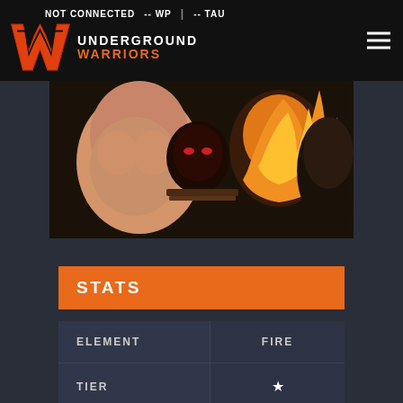NOT CONNECTED   -- WP   |   -- TAU
UNDERGROUND WARRIORS
[Figure (illustration): Fantasy warrior characters illustration showing muscular figures with fire elements]
STATS
|  |  |
| --- | --- |
| ELEMENT | FIRE |
| TIER | ★ |
| HP | 1670 |